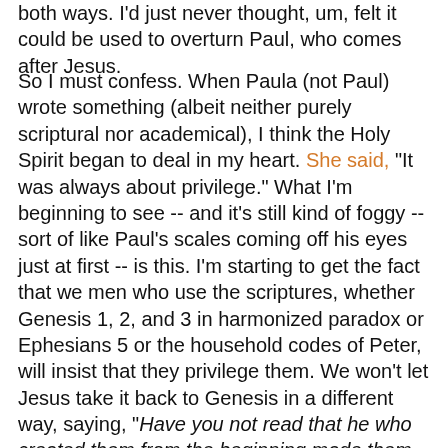both ways.  I'd just never thought, um, felt it could be used to overturn Paul, who comes after Jesus.
So I must confess.  When Paula (not Paul) wrote something (albeit neither purely scriptural nor academical), I think the Holy Spirit began to deal in my heart.  She said, "It was always about privilege."  What I'm beginning to see -- and it's still kind of foggy -- sort of like Paul's scales coming off his eyes just at first -- is this.  I'm starting to get the fact that we men who use the scriptures, whether Genesis 1, 2, and 3 in harmonized paradox or Ephesians 5 or the household codes of Peter, will insist that they privilege them.  We won't let Jesus take it back to Genesis in a different way, saying, "Have you not read that he who created them from the beginning made them male and female, and said, 'Therefore a man shall leave his father and his mother and hold fast to his wife, and the two shall become one flesh'? So they are no longer two but one flesh. What therefore God has joined together, let not man separate." We have to say